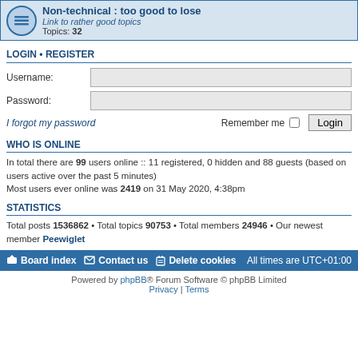Non-technical : too good to lose
Link to rather good topics
Topics: 32
LOGIN • REGISTER
Username:
Password:
I forgot my password    Remember me  Login
WHO IS ONLINE
In total there are 99 users online :: 11 registered, 0 hidden and 88 guests (based on users active over the past 5 minutes)
Most users ever online was 2419 on 31 May 2020, 4:38pm
STATISTICS
Total posts 1536862 • Total topics 90753 • Total members 24946 • Our newest member Peewiglet
Board index  Contact us  Delete cookies  All times are UTC+01:00
Powered by phpBB® Forum Software © phpBB Limited
Privacy | Terms